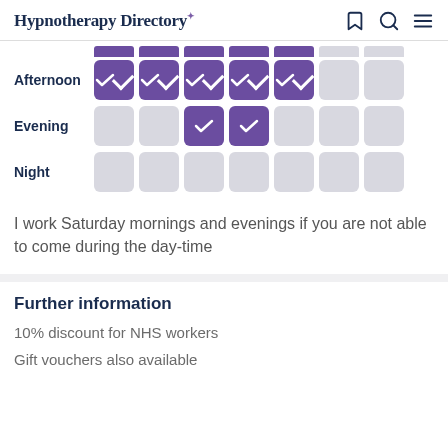Hypnotherapy Directory
|  | Col1 | Col2 | Col3 | Col4 | Col5 | Col6 | Col7 |
| --- | --- | --- | --- | --- | --- | --- | --- |
| Afternoon | ✓ | ✓ | ✓ | ✓ | ✓ |  |  |
| Evening |  |  | ✓ | ✓ |  |  |  |
| Night |  |  |  |  |  |  |  |
I work Saturday mornings and evenings if you are not able to come during the day-time
Further information
10% discount for NHS workers
Gift vouchers also available